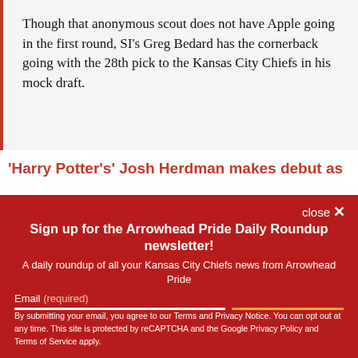Though that anonymous scout does not have Apple going in the first round, SI's Greg Bedard has the cornerback going with the 28th pick to the Kansas City Chiefs in his mock draft.
'Harry Potter's' Josh Herdman makes debut as
close ✕
Sign up for the Arrowhead Pride Daily Roundup newsletter!
A daily roundup of all your Kansas City Chiefs news from Arrowhead Pride
Email (required)
SUBSCRIBE
By submitting your email, you agree to our Terms and Privacy Notice. You can opt out at any time. This site is protected by reCAPTCHA and the Google Privacy Policy and Terms of Service apply.